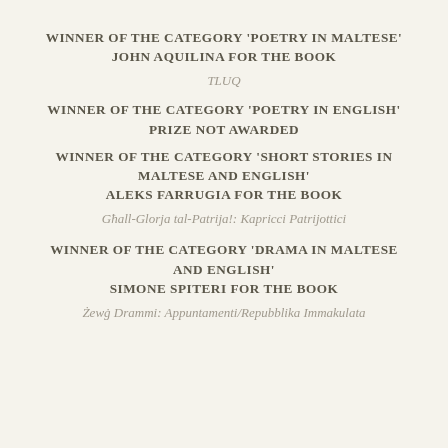WINNER OF THE CATEGORY ‘POETRY IN MALTESE’ JOHN AQUILINA FOR THE BOOK
TLUQ
WINNER OF THE CATEGORY ‘POETRY IN ENGLISH’ PRIZE NOT AWARDED
WINNER OF THE CATEGORY ‘SHORT STORIES IN MALTESE AND ENGLISH’ ALEKS FARRUGIA FOR THE BOOK
Għall-Glorja tal-Patriķa!: Kapricci Patriħottiċi
WINNER OF THE CATEGORY ‘DRAMA IN MALTESE AND ENGLISH’ SIMONE SPITERI FOR THE BOOK
Żewġ Drammi: Appuntamenti/Repubblika Immakulata